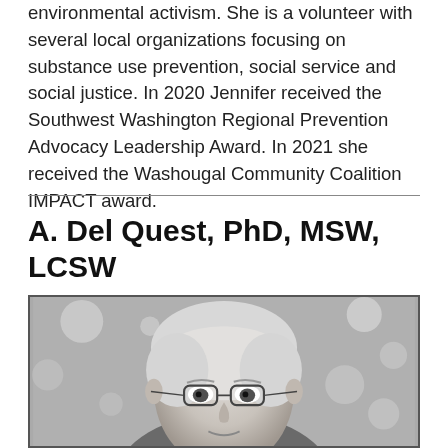environmental activism. She is a volunteer with several local organizations focusing on substance use prevention, social service and social justice. In 2020 Jennifer received the Southwest Washington Regional Prevention Advocacy Leadership Award. In 2021 she received the Washougal Community Coalition IMPACT award.
A. Del Quest, PhD, MSW, LCSW
[Figure (photo): Black and white headshot photograph of A. Del Quest, an older woman with short white/gray hair and glasses, looking at the camera. Background is blurred with bokeh light circles.]